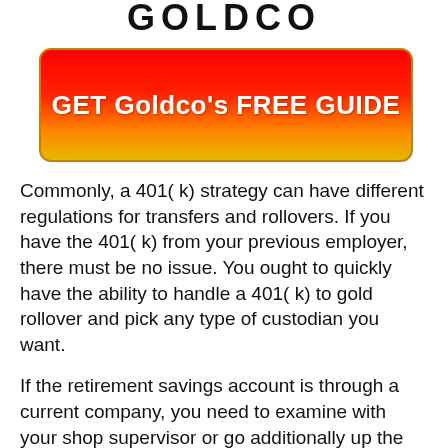[Figure (logo): Goldco logo text at top of page]
[Figure (infographic): Red to gold gradient CTA button reading GET Goldco's FREE GUIDE]
Commonly, a 401( k) strategy can have different regulations for transfers and rollovers. If you have the 401( k) from your previous employer, there must be no issue. You ought to quickly have the ability to handle a 401( k) to gold rollover and pick any type of custodian you want.
If the retirement savings account is through a current company, you need to examine with your shop supervisor or go additionally up the chain of command. Some companies